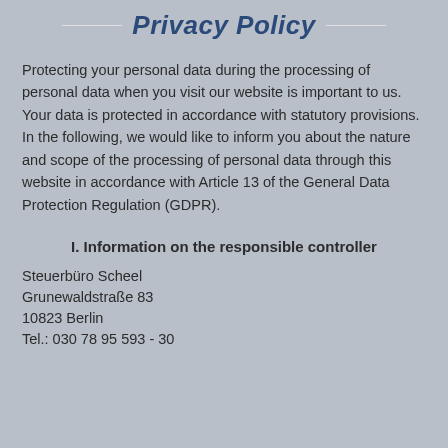Privacy Policy
Protecting your personal data during the processing of personal data when you visit our website is important to us. Your data is protected in accordance with statutory provisions. In the following, we would like to inform you about the nature and scope of the processing of personal data through this website in accordance with Article 13 of the General Data Protection Regulation (GDPR).
I. Information on the responsible controller
Steuerbüro Scheel
Grunewaldstraße 83
10823 Berlin
Tel.: 030 78 95 593 - 30